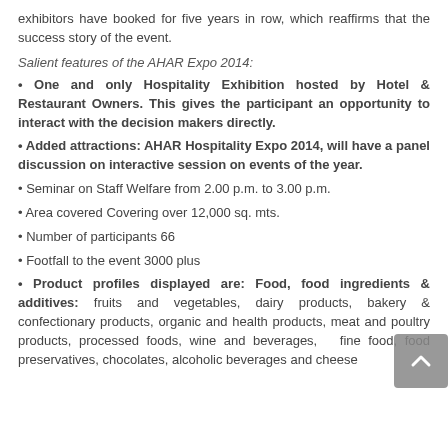exhibitors have booked for five years in row, which reaffirms that the success story of the event.
Salient features of the AHAR Expo 2014:
One and only Hospitality Exhibition hosted by Hotel & Restaurant Owners. This gives the participant an opportunity to interact with the decision makers directly.
Added attractions: AHAR Hospitality Expo 2014, will have a panel discussion on interactive session on events of the year.
Seminar on Staff Welfare from 2.00 p.m. to 3.00 p.m.
Area covered Covering over 12,000 sq. mts.
Number of participants 66
Footfall to the event 3000 plus
Product profiles displayed are: Food, food ingredients & additives: fruits and vegetables, dairy products, bakery & confectionary products, organic and health products, meat and poultry products, processed foods, wine and beverages, fine food, food preservatives, chocolates, alcoholic beverages and cheese